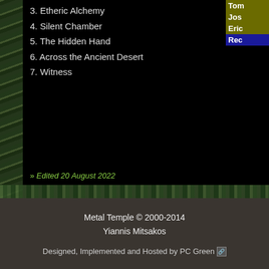3. Etheric Alchemy
4. Silent Chamber
5. The Hidden Hand
6. Across the Ancient Desert
7. Witness
>> Edited 20 August 2022
Metal Temple © 2000-2014
Yiannis Mitsakos
Designed, Implemented and Hosted by PC Green